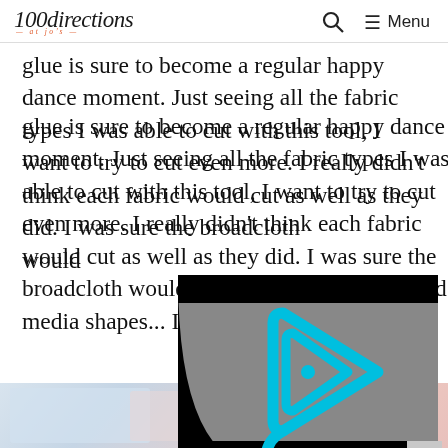100directions Menu
glue is sure to become a regular happy dance moment. Just seeing all the fabric types I was able to cut with this tool, I want to try to cut even more. I really didn't think each fabric would cut as well as they did. I was sure the broadcloth would be happy. Ok mixed media shapes... I'm rea
[Figure (screenshot): Video player overlay with cyan/teal triangular play button logo on gray background with black borders]
[Figure (photo): Partial photo of fabric or craft materials at bottom of page]